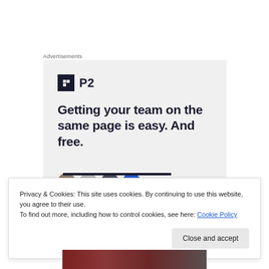Advertisements
[Figure (screenshot): P2 advertisement with logo and tagline: Getting your team on the same page is easy. And free. Shows circular avatar icons at bottom.]
Privacy & Cookies: This site uses cookies. By continuing to use this website, you agree to their use.
To find out more, including how to control cookies, see here: Cookie Policy
Close and accept